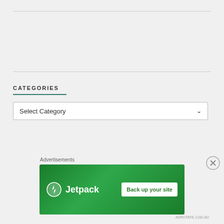CATEGORIES
[Figure (other): Dropdown select box with label 'Select Category' and a chevron arrow]
RECENT POSTS
The Game Vault Ep. 65 – Our Favorite Multiplayer Ma…
[Figure (other): Jetpack advertisement banner: green background with Jetpack logo and 'Back up your site' button]
Advertisements